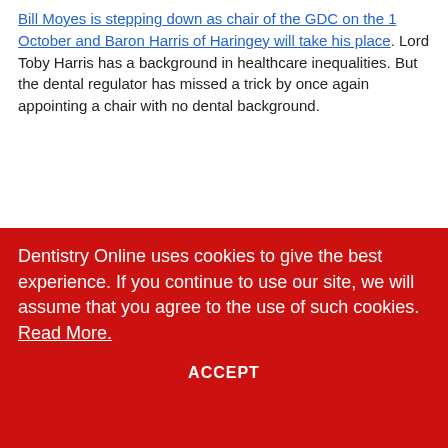Bill Moyes is stepping down as chair of the GDC on the 1 October and Baron Harris of Haringey will take his place. Lord Toby Harris has a background in healthcare inequalities. But the dental regulator has missed a trick by once again appointing a chair with no dental background.
Boost in first-time buyer interest for private practices in London
[Figure (photo): Partial photo showing a wooden object on the left and a light background, with a Dentistry magazine logo in red italic font on the right side.]
Dentistry Online uses cookies to give the best experience. If you continue to use our site, we will assume that you agree to the use of such cookies. Read More.
ACCEPT